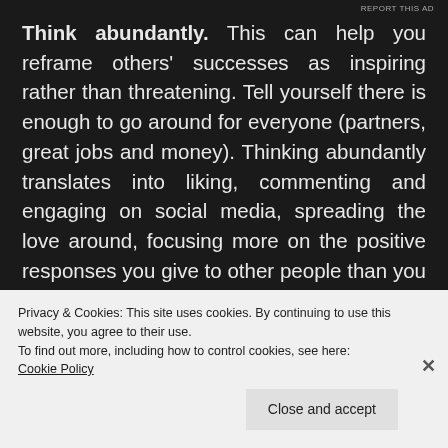REPORT THIS AD
Think abundantly. This can help you reframe others' successes as inspiring rather than threatening. Tell yourself there is enough to go around for everyone (partners, great jobs and money). Thinking abundantly translates into liking, commenting and engaging on social media, spreading the love around, focusing more on the positive responses you give to other people than you do on your own feed. This emphasis on giving is a good way to counteract
Privacy & Cookies: This site uses cookies. By continuing to use this website, you agree to their use.
To find out more, including how to control cookies, see here: Cookie Policy
Close and accept